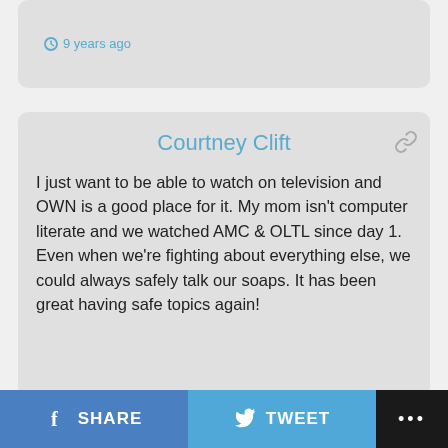9 years ago
Courtney Clift
I just want to be able to watch on television and OWN is a good place for it. My mom isn't computer literate and we watched AMC & OLTL since day 1. Even when we're fighting about everything else, we could always safely talk our soaps. It has been great having safe topics again!
Reply
9 years ago
Raymond
I wouldn't be surprised if it's Carlo Hesser.